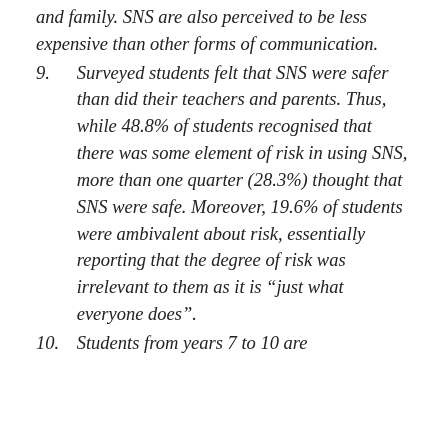and family. SNS are also perceived to be less expensive than other forms of communication.
9.   Surveyed students felt that SNS were safer than did their teachers and parents. Thus, while 48.8% of students recognised that there was some element of risk in using SNS, more than one quarter (28.3%) thought that SNS were safe. Moreover, 19.6% of students were ambivalent about risk, essentially reporting that the degree of risk was irrelevant to them as it is “just what everyone does”.
10.   Students from years 7 to 10 are